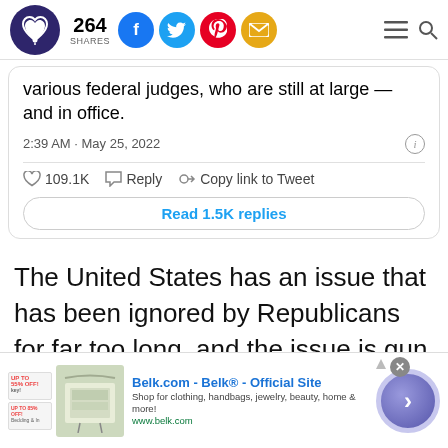264 SHARES
various federal judges, who are still at large — and in office.
2:39 AM · May 25, 2022
109.1K   Reply   Copy link to Tweet
Read 1.5K replies
The United States has an issue that has been ignored by Republicans for far too long, and the issue is gun control.
[Figure (screenshot): Advertisement banner for Belk.com - Belk® - Official Site. Shop for clothing, handbags, jewelry, beauty, home & more! www.belk.com]